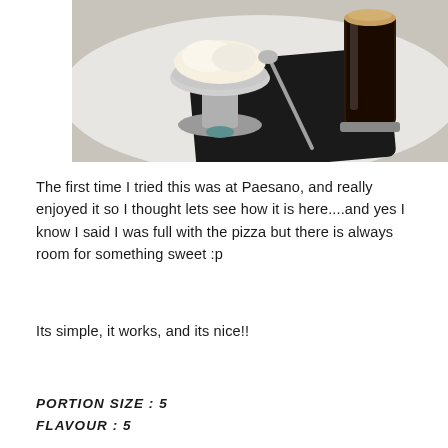[Figure (photo): Food photo showing an ice cream dessert in a silver bowl on a white plate, with a dark espresso drink in a glass, served on a black napkin with a spoon]
The first time I tried this was at Paesano, and really enjoyed it so I thought lets see how it is here....and yes I know I said I was full with the pizza but there is always room for something sweet :p
Its simple, it works, and its nice!!
PORTION SIZE : 5
FLAVOUR : 5